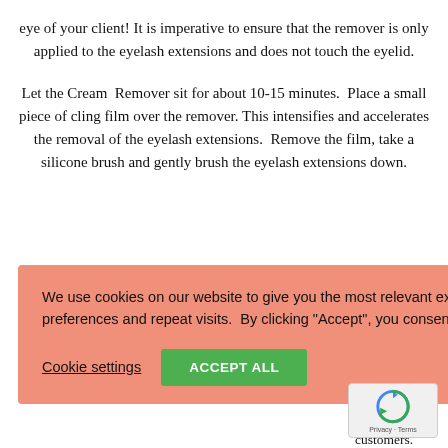eye of your client! It is imperative to ensure that the remover is only applied to the eyelash extensions and does not touch the eyelid.
Let the Cream Remover sit for about 10-15 minutes. Place a small piece of cling film over the remover. This intensifies and accelerates the removal of the eyelash extensions. Remove the film, take a silicone brush and gently brush the eyelash extensions down.
[partially obscured] ...immediately, do not ...ead, repeat the ...ashes of d...customers.
[Figure (screenshot): Cookie consent banner with salmon/coral background. Text: 'We use cookies on our website to give you the most relevant experience by remembering your preferences and repeat visits. By clicking "Accept", you consent to the use of ALL the cookies.' Buttons: 'Cookie settings' (underlined link) and 'ACCEPT ALL' (green button). A reCAPTCHA badge appears in the lower right corner with Privacy - Terms text.]